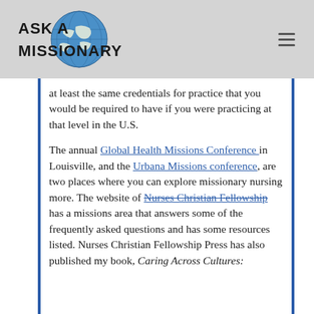Ask a Missionary
at least the same credentials for practice that you would be required to have if you were practicing at that level in the U.S.
The annual Global Health Missions Conference in Louisville, and the Urbana Missions conference, are two places where you can explore missionary nursing more. The website of Nurses Christian Fellowship has a missions area that answers some of the frequently asked questions and has some resources listed. Nurses Christian Fellowship Press has also published my book, Caring Across Cultures: